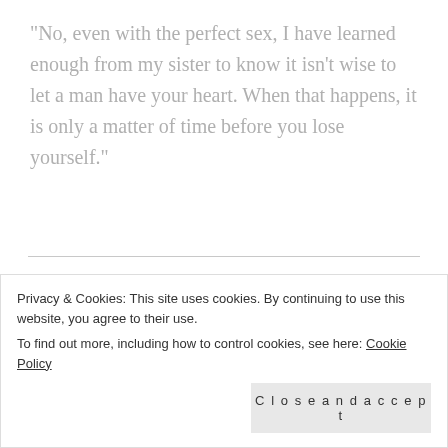"No, even with the perfect sex, I have learned enough from my sister to know it isn't wise to let a man have your heart. When that happens, it is only a matter of time before you lose yourself."
There are a lot of twists to the story and one very large secret that threatens to tear Cage and Melissa apart. These two are so amazing together,
Privacy & Cookies: This site uses cookies. By continuing to use this website, you agree to their use.
To find out more, including how to control cookies, see here: Cookie Policy
Close and accept